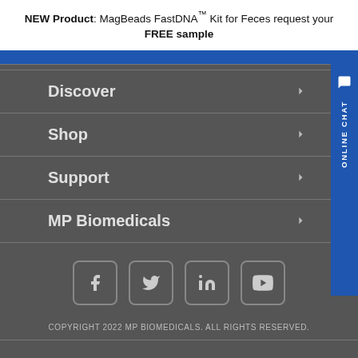NEW Product: MagBeads FastDNA™ Kit for Feces request your FREE sample
Discover
Shop
Support
MP Biomedicals
[Figure (other): Social media icons: Facebook, Twitter, LinkedIn, YouTube]
COPYRIGHT 2022 MP BIOMEDICALS. ALL RIGHTS RESERVED.